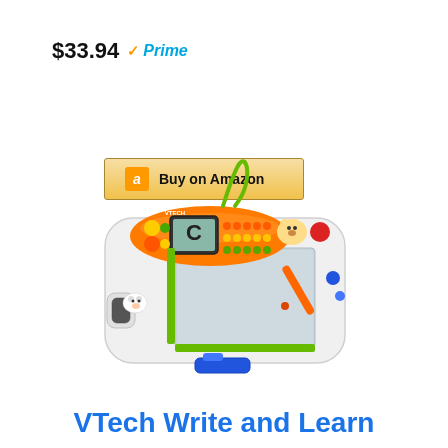$33.94 ✓Prime
Buy on Amazon
[Figure (photo): VTech Write and Learn electronic drawing tablet toy with orange oval control panel showing letter C on LCD screen, alphabet buttons, stylus, and blue eraser lever, on white background]
VTech Write and Learn